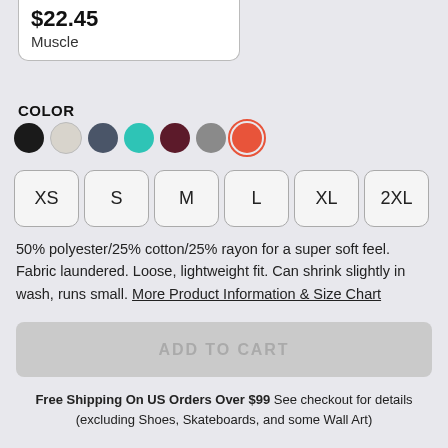$22.45
Muscle
COLOR
[Figure (other): Color swatches: black, white/light gray, dark gray-blue, teal/cyan, dark red/maroon, gray, red-orange (selected with red ring)]
XS
S
M
L
XL
2XL
50% polyester/25% cotton/25% rayon for a super soft feel. Fabric laundered. Loose, lightweight fit. Can shrink slightly in wash, runs small. More Product Information & Size Chart
ADD TO CART
Free Shipping On US Orders Over $99 See checkout for details (excluding Shoes, Skateboards, and some Wall Art)